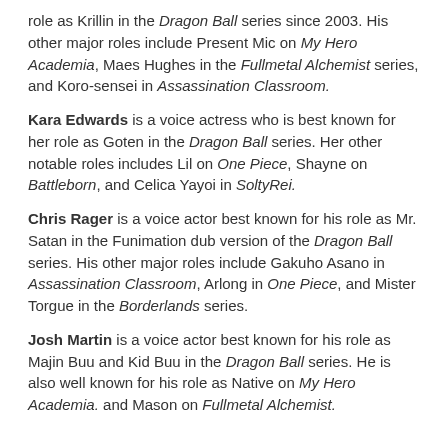role as Krillin in the Dragon Ball series since 2003. His other major roles include Present Mic on My Hero Academia, Maes Hughes in the Fullmetal Alchemist series, and Koro-sensei in Assassination Classroom.
Kara Edwards is a voice actress who is best known for her role as Goten in the Dragon Ball series. Her other notable roles includes Lil on One Piece, Shayne on Battleborn, and Celica Yayoi in SoltyRei.
Chris Rager is a voice actor best known for his role as Mr. Satan in the Funimation dub version of the Dragon Ball series. His other major roles include Gakuho Asano in Assassination Classroom, Arlong in One Piece, and Mister Torgue in the Borderlands series.
Josh Martin is a voice actor best known for his role as Majin Buu and Kid Buu in the Dragon Ball series. He is also well known for his role as Native on My Hero Academia. and Mason on Fullmetal Alchemist.